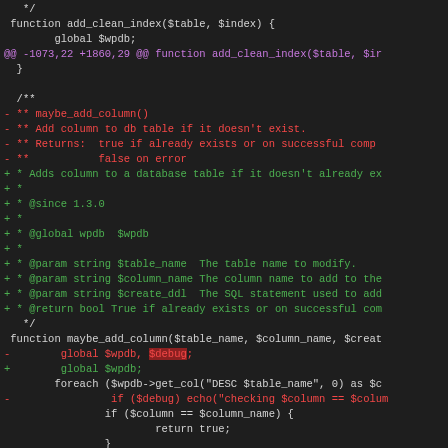[Figure (screenshot): Source code diff view showing changes to PHP functions add_clean_index and maybe_add_column. Removed lines in red, added lines in green, hunk headers in purple, on dark background.]